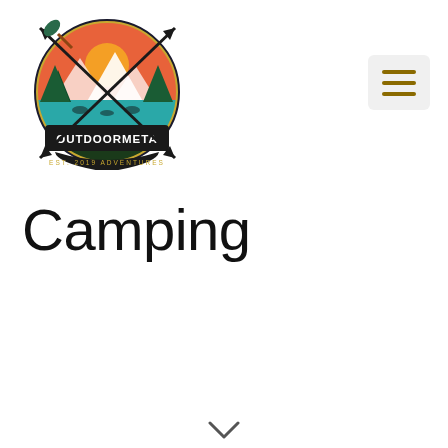[Figure (logo): OutdoorMeta Adventures logo — circular emblem with outdoor scene (mountains, trees, lake, animals, sunset), crossed arrows and paddle, text 'OUTDOORMETA' and 'EST. 2019 ADVENTURES']
[Figure (other): Hamburger menu button with three horizontal dark gold lines on a light gray rounded rectangle background]
Camping
[Figure (other): Downward chevron / arrow symbol at bottom center of page]